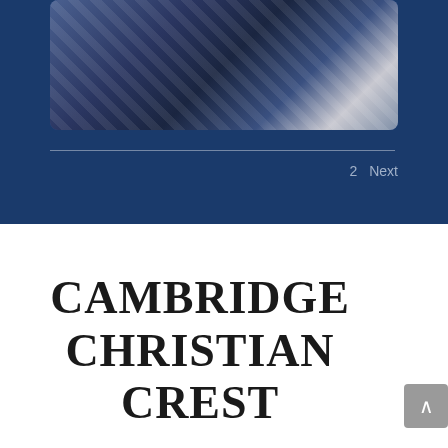[Figure (photo): Photo of blue and white patterned fabric or garments, possibly scarves or sports uniforms, on a wooden surface]
2   Next
CAMBRIDGE CHRISTIAN CREST